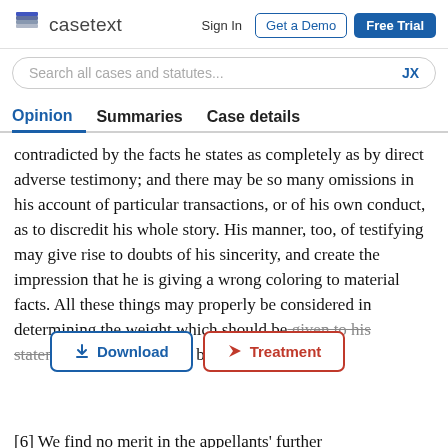casetext  Sign In  Get a Demo  Free Trial
Search all cases and statutes...
Opinion  Summaries  Case details
contradicted by the facts he states as completely as by direct adverse testimony; and there may be so many omissions in his account of particular transactions, or of his own conduct, as to discredit his whole story. His manner, too, of testifying may give rise to doubts of his sincerity, and create the impression that he is giving a wrong coloring to material facts. All these things may properly be considered in determining the weight which should be given to his statements, although there be no adverse verdict du
[6] We find no merit in the appellants' further